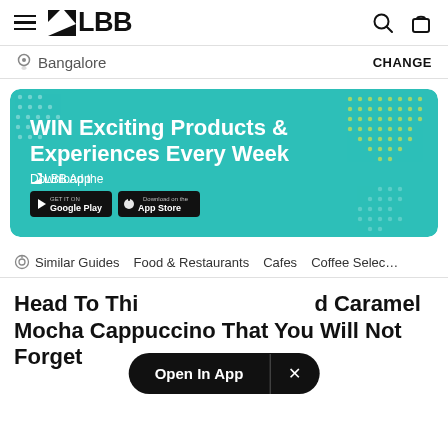LBB — Hamburger menu, LBB logo, Search, Cart icons
📍 Bangalore   CHANGE
[Figure (infographic): Teal promotional banner: WIN Exciting Products & Experiences Every Week. Download the LBB App. Google Play and App Store buttons. Decorative dot patterns.]
Similar Guides   Food & Restaurants   Cafes   Coffee Selec…
Head To This… d Caramel Mocha Cappuccino That You Will Not Forget
Open In App   ×